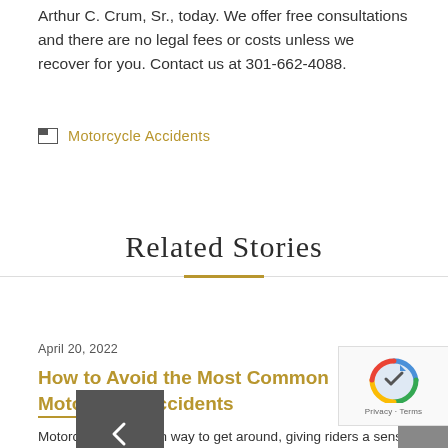Arthur C. Crum, Sr., today. We offer free consultations and there are no legal fees or costs unless we recover for you. Contact us at 301-662-4088.
Motorcycle Accidents
Related Stories
April 20, 2022
How to Avoid the Most Common Motorcycle Accidents
Motorcycles are a fun way to get around, giving riders a sense of freedom